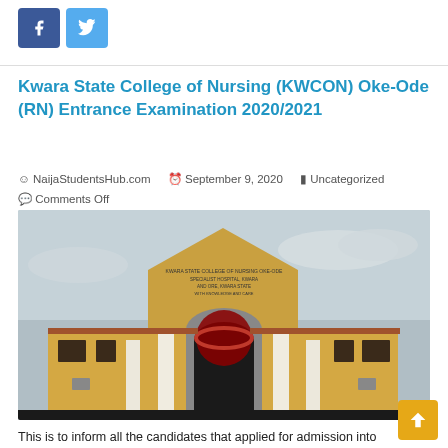[Figure (other): Facebook and Twitter social share buttons]
Kwara State College of Nursing (KWCON) Oke-Ode (RN) Entrance Examination 2020/2021
NaijaStudentsHub.com   September 9, 2020   Uncategorized   Comments Off
[Figure (photo): Exterior photo of Kwara State College of Nursing Oke-Ode building entrance with arched gate and signboard]
This is to inform all the candidates that applied for admission into the Kwara State College of Nursing (KWCON), Oke-Ode, Basic & General Nursing (RN) training program, during the 2020/2021